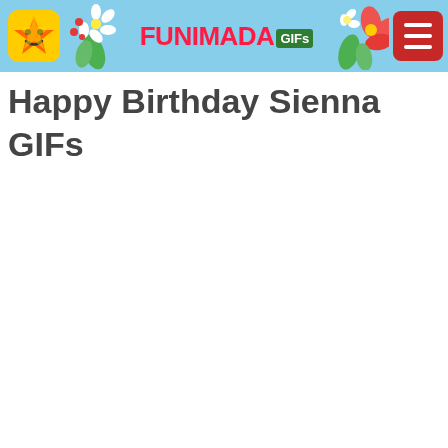FUNIMADA GIFs
Happy Birthday Sienna GIFs